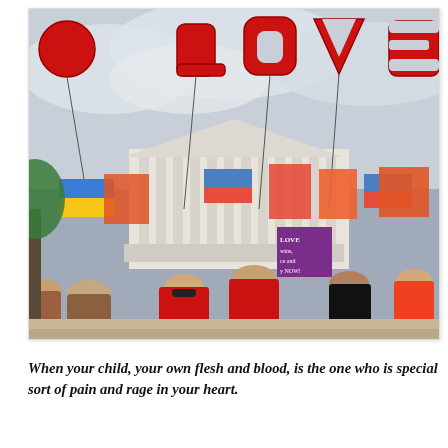[Figure (photo): Crowd of people celebrating outside the US Supreme Court building, holding red, orange, and blue equality flags and red balloon letters spelling LOVE against a cloudy sky.]
When your child, your own flesh and blood, is the one who is special sort of pain and rage in your heart.